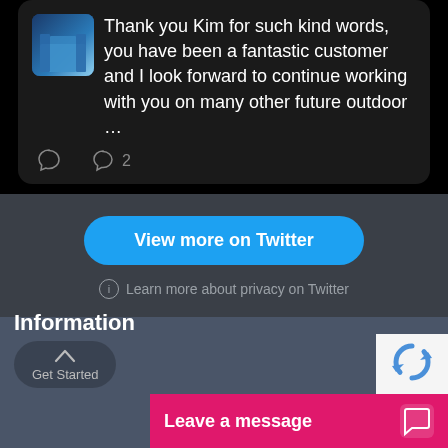[Figure (screenshot): Twitter/X dark-mode embedded tweet card showing a reply: 'Thank you Kim for such kind words, you have been a fantastic customer and I look forward to continue working with you on many other future outdoor …' with a small profile image thumbnail. Below are like (2) and comment icons.]
View more on Twitter
Learn more about privacy on Twitter
Information
Get Started
Leave a message